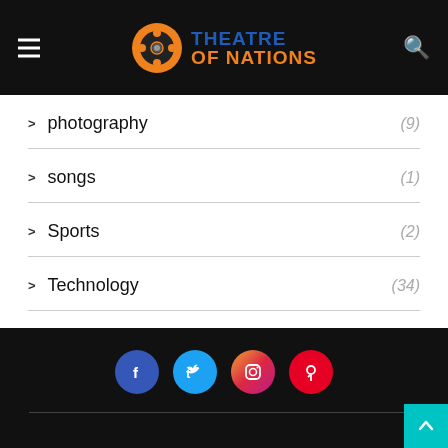THEATRE OF NATIONS
photography (9)
songs (1)
Sports (2)
Technology (34)
Uncategorized (5)
Social links: Facebook, Twitter, Instagram, Pinterest